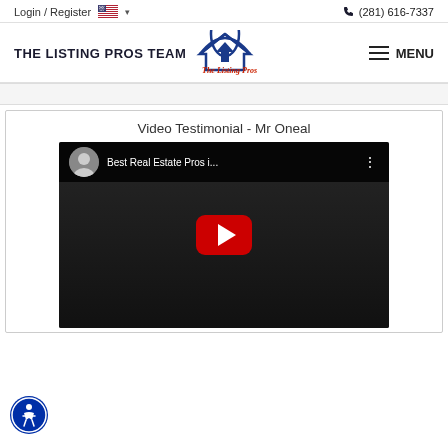Login / Register  (281) 616-7337
[Figure (logo): The Listing Pros Team logo with house icon and red italic text]
Video Testimonial - Mr Oneal
[Figure (screenshot): YouTube video embed titled 'Best Real Estate Pros i...' showing a man in a dark shirt with YouTube play button overlay]